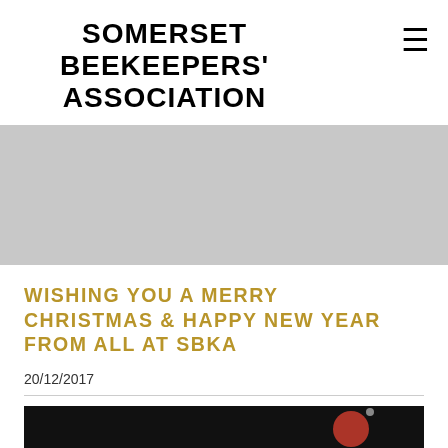SOMERSET BEEKEEPERS' ASSOCIATION
[Figure (photo): Gray placeholder/hero image area]
WISHING YOU A MERRY CHRISTMAS & HAPPY NEW YEAR FROM ALL AT SBKA
20/12/2017
[Figure (photo): Dark bottom image with red circular element, partial view]